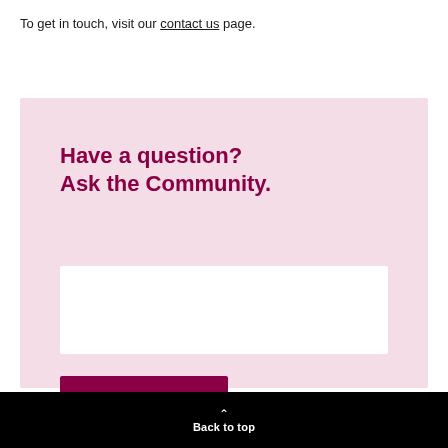To get in touch, visit our contact us page.
Have a question? Ask the Community.
[Figure (other): White text input box for submitting a question]
[Figure (other): Dark red Submit button]
Back to top